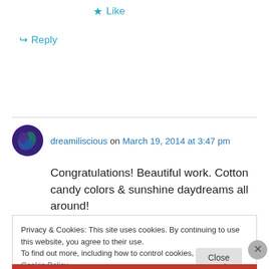★ Like
↪ Reply
dreamiliscious on March 19, 2014 at 3:47 pm
Congratulations! Beautiful work. Cotton candy colors & sunshine daydreams all around!
Privacy & Cookies: This site uses cookies. By continuing to use this website, you agree to their use. To find out more, including how to control cookies, see here: Cookie Policy